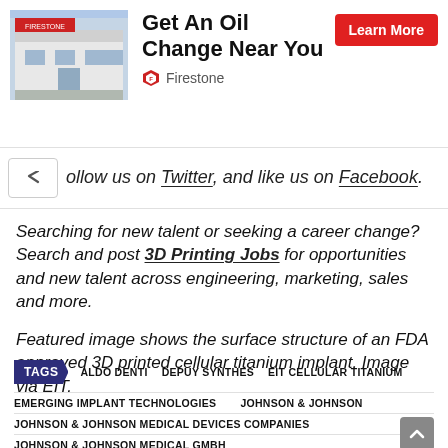[Figure (screenshot): Firestone ad banner with store photo, 'Get An Oil Change Near You' heading, Learn More red button, and Firestone logo/brand name]
Follow us on Twitter, and like us on Facebook.
Searching for new talent or seeking a career change? Search and post 3D Printing Jobs for opportunities and new talent across engineering, marketing, sales and more.
Featured image shows the surface structure of an FDA approved 3D printed cellular titanium implant. Image via EIT.
TAGS  ALDO DENTI  DEPUY SYNTHES  EIT CELLULAR TITANIUM  EMERGING IMPLANT TECHNOLOGIES  JOHNSON & JOHNSON  JOHNSON & JOHNSON MEDICAL DEVICES COMPANIES  JOHNSON & JOHNSON MEDICAL GMBH